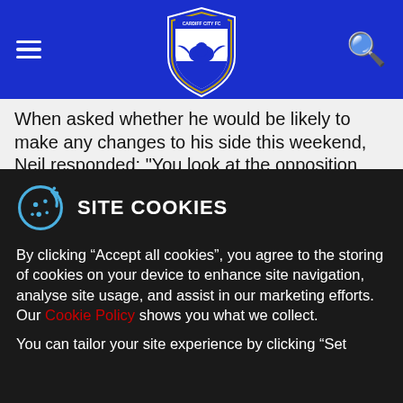Cardiff City FC website header with hamburger menu, club crest logo, and search icon
When asked whether he would be likely to make any changes to his side this weekend, Neil responded: "You look at the opposition and how they play, to work out how you feel the best way is to try and get a result.
"I don't panic about changes for the sake of it, but there are one or two lads really busting a gut to get in the team. It has been very good this week in terms of competition and there have been some real cracking
SITE COOKIES
By clicking “Accept all cookies”, you agree to the storing of cookies on your device to enhance site navigation, analyse site usage, and assist in our marketing efforts. Our Cookie Policy shows you what we collect.
You can tailor your site experience by clicking "Set